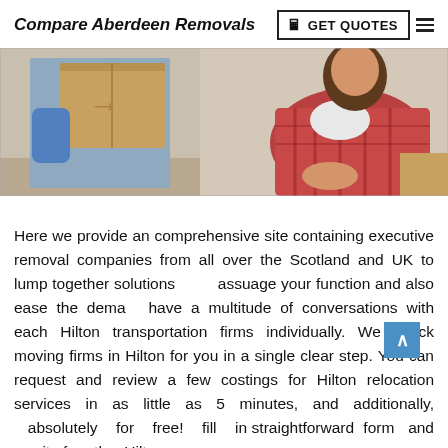Compare Aberdeen Removals
[Figure (photo): Two people moving boxes — one person in blue holding a cardboard box, another person in a plaid shirt sitting near boxes]
Here we provide an comprehensive site containing executive removal companies from all over the Scotland and UK to lump together solutions assuage your function and also ease the dema have a multitude of conversations with each Hilton transportation firms individually. We check moving firms in Hilton for you in a single clear step. You can request and review a few costings for Hilton relocation services in as little as 5 minutes, and additionally, absolutely for free! fill in straightforward form and wait for the Hilton